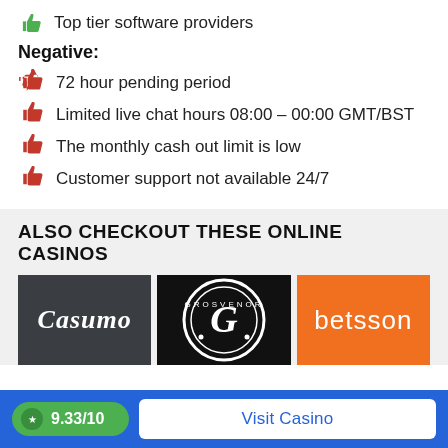Top tier software providers
Negative:
72 hour pending period
Limited live chat hours 08:00 – 00:00 GMT/BST
The monthly cash out limit is low
Customer support not available 24/7
ALSO CHECKOUT THESE ONLINE CASINOS
[Figure (logo): Casumo casino logo on dark gray background]
[Figure (logo): Grosvenor casino logo on black background]
[Figure (logo): Betsson casino logo on orange background]
9.33/10
Visit Casino